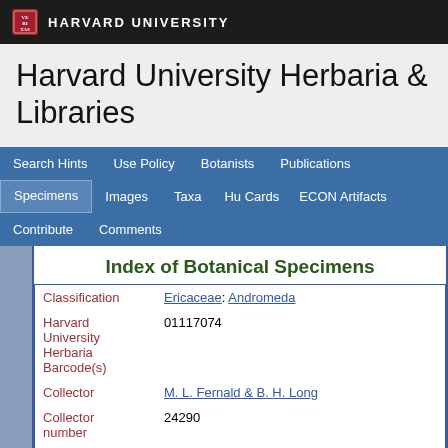HARVARD UNIVERSITY
Harvard University Herbaria & Libraries
Search Hints
Use Policy
Botanists
Publications
Specimens
Images
Taxa
Hu Cards
ECON Artifacts
Contribute
Comments
Index of Botanical Specimens
| Field | Value |
| --- | --- |
| Classification | Ericaceae: Andromeda |
| Harvard University Herbaria Barcode(s) | 01117074 |
| Collector | M. L. Fernald & B. H. Long |
| Collector number | 24290 |
| Country | Canada |
| State | Nova Scotia |